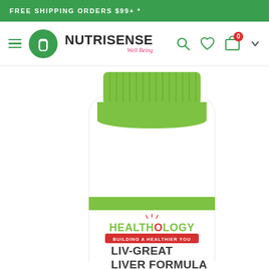FREE SHIPPING ORDERS $99+ *
[Figure (logo): Nutrisense Well Being logo with green circle containing leaf icons]
[Figure (photo): Healthology LIV-GREAT LIVER FORMULA supplement bottle with green cap, partial view showing label]